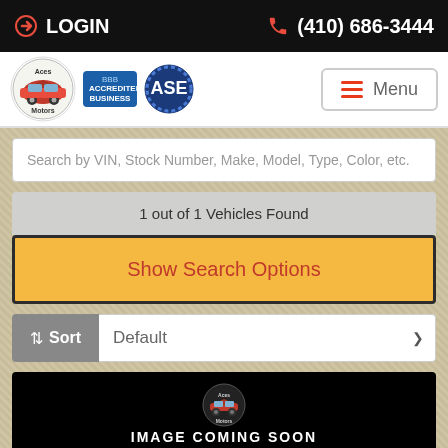LOGIN | (410) 686-3444
[Figure (logo): Aces Motors logo with BBB Accredited Business badge and ASE certified badge, plus hamburger Menu button]
Search by VIN, Stock Number, Make, Model, Type, Color, etc.
1 out of 1 Vehicles Found
Show Search Options
Sort  Default
[Figure (photo): Black image placeholder with Aces Motors logo and IMAGE COMING SOON text]